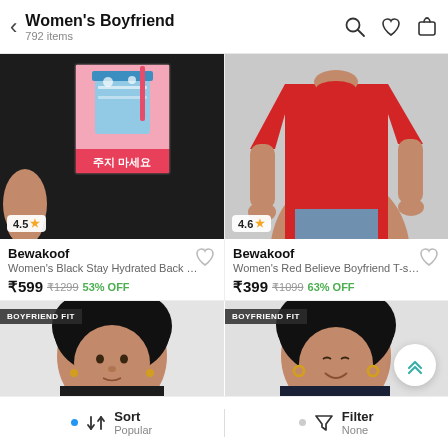Women's Boyfriend — 792 items
[Figure (photo): Black graphic t-shirt with Korean text and drink illustration, rating 4.5 stars]
[Figure (photo): Red boyfriend t-shirt on model, rating 4.6 stars]
Bewakoof
Women's Black Stay Hydrated Back Graphic...
₹599  ₹1299  53% OFF
Bewakoof
Women's Red Believe Boyfriend T-shirt
₹399  ₹1099  63% OFF
[Figure (photo): Black boyfriend fit t-shirt on female model, BOYFRIEND FIT label]
[Figure (photo): Dark navy boyfriend fit t-shirt on female model, BOYFRIEND FIT label]
Sort Popular | Filter None